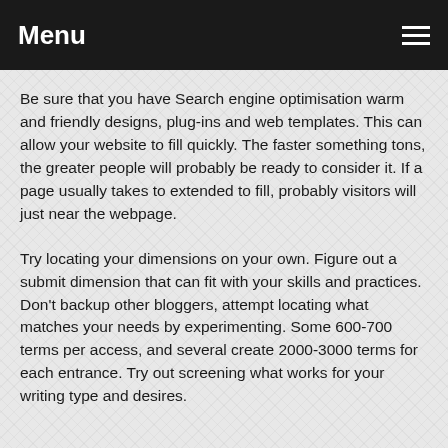Menu
Be sure that you have Search engine optimisation warm and friendly designs, plug-ins and web templates. This can allow your website to fill quickly. The faster something tons, the greater people will probably be ready to consider it. If a page usually takes to extended to fill, probably visitors will just near the webpage.
Try locating your dimensions on your own. Figure out a submit dimension that can fit with your skills and practices. Don't backup other bloggers, attempt locating what matches your needs by experimenting. Some 600-700 terms per access, and several create 2000-3000 terms for each entrance. Try out screening what works for your writing type and desires.